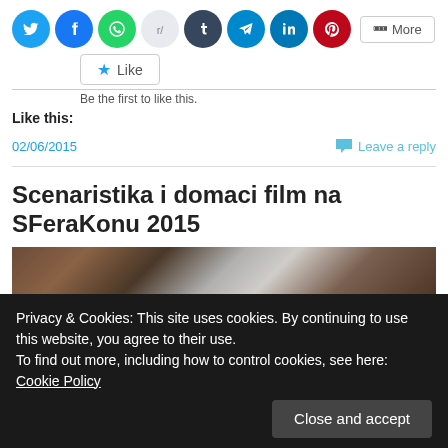[Figure (screenshot): Row of social media sharing icon buttons: Twitter, Facebook, WhatsApp, Reddit, Tumblr, Telegram, LinkedIn, Pinterest, and a More button]
[Figure (screenshot): Like button with star icon]
Be the first to like this.
Like this:
02/06/2015
Leave a reply
Scenaristika i domaci film na SFeraKonu 2015
[Figure (photo): Partially visible image showing rocky or stone-like terrain with muted brown and gray tones]
Privacy & Cookies: This site uses cookies. By continuing to use this website, you agree to their use.
To find out more, including how to control cookies, see here: Cookie Policy
Close and accept